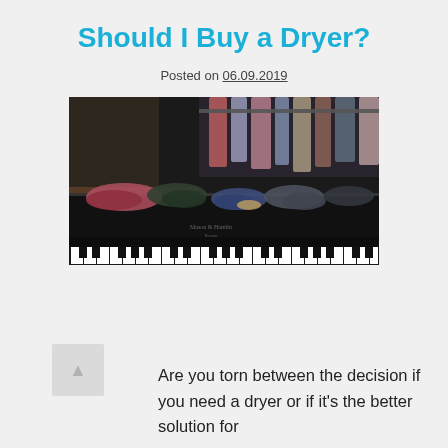Should I Buy a Dryer?
Posted on 06.09.2019
[Figure (photo): Clothes and items piled on top of a dark upright piano with piano keys visible at the bottom; hanging clothes visible in the background on a rack.]
Are you torn between the decision if you need a dryer or if it's the better solution for